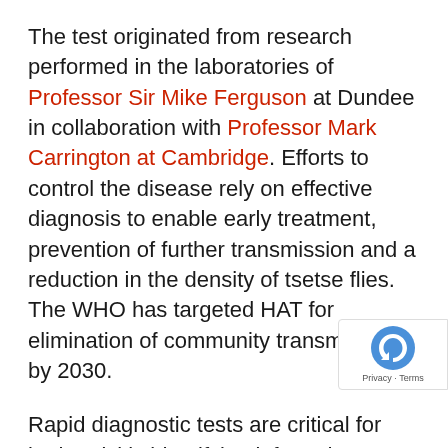The test originated from research performed in the laboratories of Professor Sir Mike Ferguson at Dundee in collaboration with Professor Mark Carrington at Cambridge. Efforts to control the disease rely on effective diagnosis to enable early treatment, prevention of further transmission and a reduction in the density of tsetse flies. The WHO has targeted HAT for elimination of community transmission by 2030.
Rapid diagnostic tests are critical for both quickly identifying infected individuals for treatment andfor active surveillance to take rapid action if any potential reemergence occurs in areas of previous disease elimination.
Professor Ferguson, Regius Professor of Life